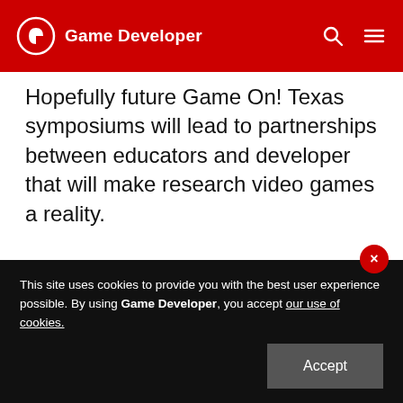Game Developer
Hopefully future Game On! Texas symposiums will lead to partnerships between educators and developer that will make research video games a reality.
Get daily news, dev blogs, and stories from Game Developer straight to your inbox
Subscribe
This site uses cookies to provide you with the best user experience possible. By using Game Developer, you accept our use of cookies.
Accept